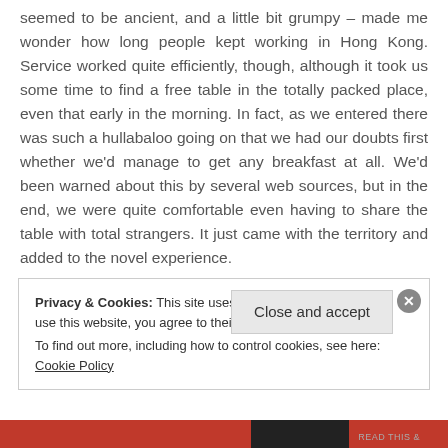seemed to be ancient, and a little bit grumpy – made me wonder how long people kept working in Hong Kong. Service worked quite efficiently, though, although it took us some time to find a free table in the totally packed place, even that early in the morning. In fact, as we entered there was such a hullabaloo going on that we had our doubts first whether we'd manage to get any breakfast at all. We'd been warned about this by several web sources, but in the end, we were quite comfortable even having to share the table with total strangers. It just came with the territory and added to the novel experience.
Privacy & Cookies: This site uses cookies. By continuing to use this website, you agree to their use.
To find out more, including how to control cookies, see here: Cookie Policy
Close and accept